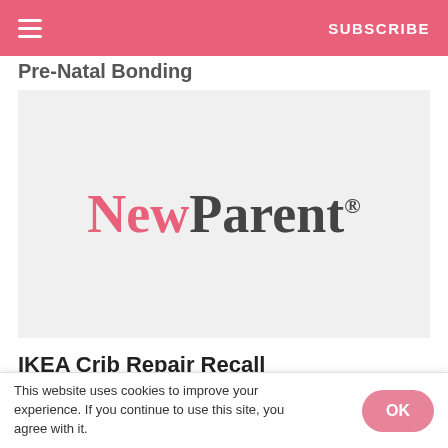SUBSCRIBE
Pre-Natal Bonding
[Figure (logo): NewParent logo on light gray background. 'New' in pink/salmon bold serif, 'Parent' in dark gray bold serif, with registered trademark symbol.]
IKEA Crib Repair Recall
This website uses cookies to improve your experience. If you continue to use this site, you agree with it.